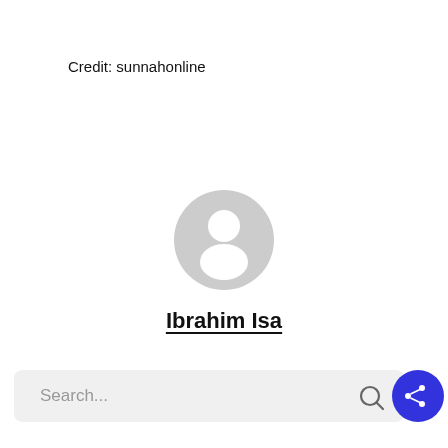Credit: sunnahonline
[Figure (illustration): Generic user avatar icon — a grey silhouette of a person (head and shoulders) inside a circle]
Ibrahim Isa
[Figure (screenshot): Search bar with placeholder text 'Search...' and a search icon on the right, plus a blue circular share button]